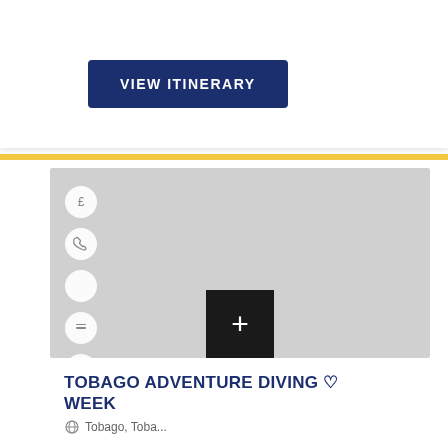VIEW ITINERARY
[Figure (screenshot): Gray map placeholder area with circular icon buttons on the left side (pound, phone, moon, minus, layers) and a dark plus button at the bottom center]
TOBAGO ADVENTURE DIVING ♡ WEEK
Tobago, Toba...